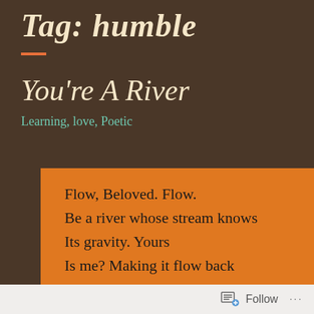Tag: humble
You're A River
Learning, love, Poetic
Flow, Beloved. Flow.
Be a river whose stream knows
Its gravity. Yours
Is me? Making it flow back
To where a home is. Within—
Follow ...